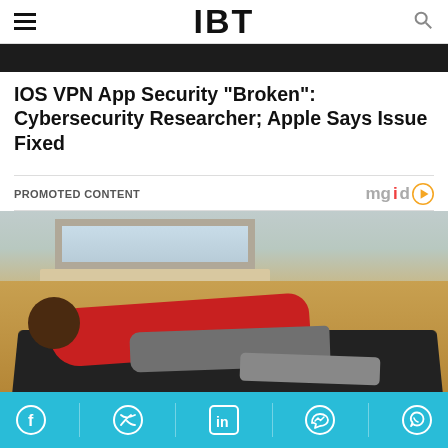IBT
[Figure (photo): Partial dark hero image at top of article]
IOS VPN App Security "Broken": Cybersecurity Researcher; Apple Says Issue Fixed
PROMOTED CONTENT
[Figure (photo): Woman in red top doing a plank exercise on a dark yoga mat on a hardwood floor near a window]
Social share bar with Facebook, Twitter, LinkedIn, Messenger, WhatsApp icons